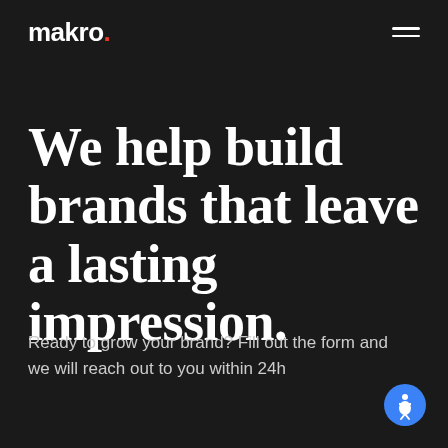makro.
We help build brands that leave a lasting impression.
Ready to grow your brand? Fill out the form and we will reach out to you within 24h